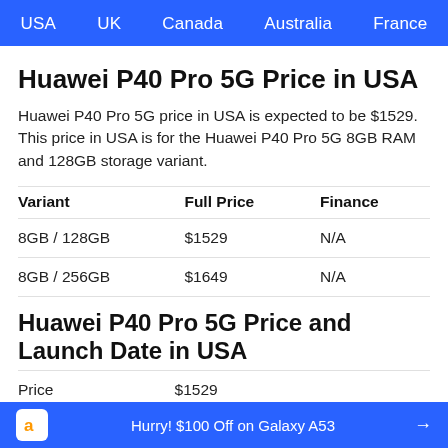USA  UK  Canada  Australia  France
Huawei P40 Pro 5G Price in USA
Huawei P40 Pro 5G price in USA is expected to be $1529. This price in USA is for the Huawei P40 Pro 5G 8GB RAM and 128GB storage variant.
| Variant | Full Price | Finance |
| --- | --- | --- |
| 8GB / 128GB | $1529 | N/A |
| 8GB / 256GB | $1649 | N/A |
Huawei P40 Pro 5G Price and Launch Date in USA
Price    $1529
Hurry! $100 Off on Galaxy A53